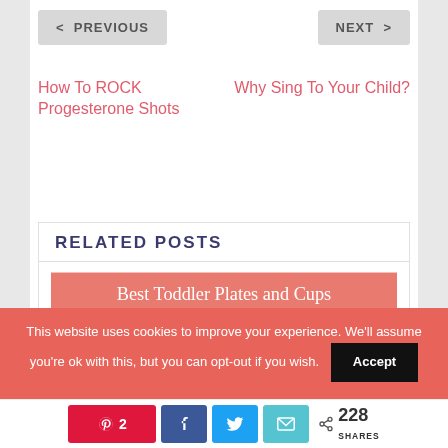< PREVIOUS
NEXT >
How To ROCK Progesterone Shots
Why Sing To Your Child?
RELATED POSTS
[Figure (photo): Blog thumbnail image: Best Toddler Plates and Cups — coral/red banner with white text and dashed border, with a photo of a toddler holding a spoon with a purple bowl]
This website uses cookies to improve your experience. We'll assume you're ok with this, but you can opt-out if you wish.
Accept
2
228 SHARES